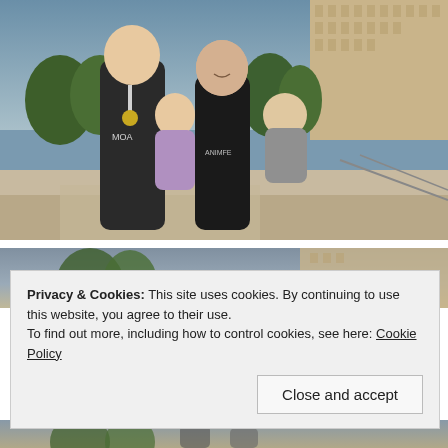[Figure (photo): Family photo outdoors: a man and woman each holding a young child, smiling, in front of a hotel building and trees. Both adults wearing athletic/race shirts.]
[Figure (photo): Partial view of another outdoor photo with grey sky at top, partially obscured by cookie consent banner.]
Privacy & Cookies: This site uses cookies. By continuing to use this website, you agree to their use.
To find out more, including how to control cookies, see here: Cookie Policy
Close and accept
[Figure (photo): Partial view of another outdoor photo at bottom of page, partially cropped.]